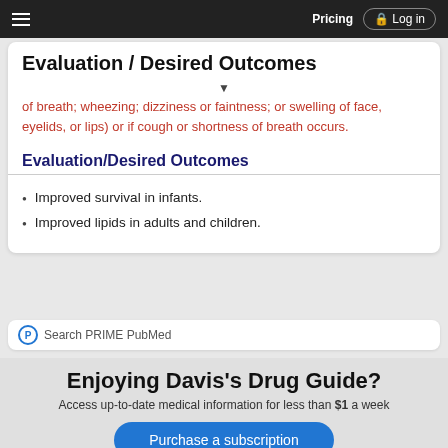Pricing  Log in
Evaluation / Desired Outcomes
of breath; wheezing; dizziness or faintness; or swelling of face, eyelids, or lips) or if cough or shortness of breath occurs.
Evaluation/Desired Outcomes
Improved survival in infants.
Improved lipids in adults and children.
Search PRIME PubMed
Enjoying Davis's Drug Guide?
Access up-to-date medical information for less than $1 a week
Purchase a subscription
I'm already a subscriber